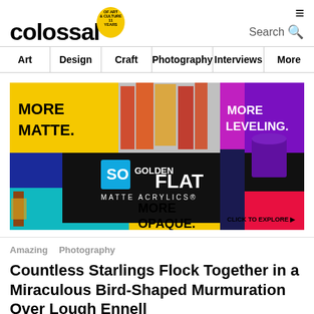COLOSSAL — 11 Years of Art & Culture
Search
Art | Design | Craft | Photography | Interviews | More
[Figure (photo): Golden FLAT Matte Acrylics advertisement banner. Colorful blocks with text: MORE MATTE. MORE LEVELING. MORE OPAQUE. CLICK TO EXPLORE. SO GOLDEN FLAT MATTE ACRYLICS logo in center.]
Amazing   Photography
Countless Starlings Flock Together in a Miraculous Bird-Shaped Murmuration Over Lough Ennell